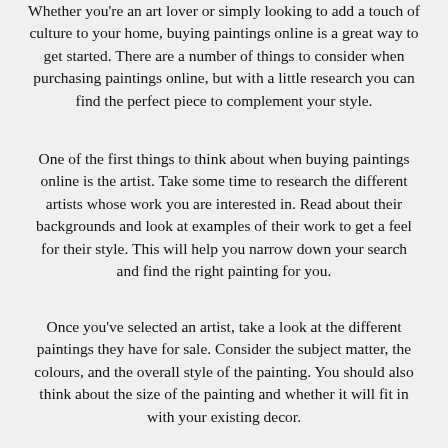Whether you're an art lover or simply looking to add a touch of culture to your home, buying paintings online is a great way to get started. There are a number of things to consider when purchasing paintings online, but with a little research you can find the perfect piece to complement your style.
One of the first things to think about when buying paintings online is the artist. Take some time to research the different artists whose work you are interested in. Read about their backgrounds and look at examples of their work to get a feel for their style. This will help you narrow down your search and find the right painting for you.
Once you've selected an artist, take a look at the different paintings they have for sale. Consider the subject matter, the colours, and the overall style of the painting. You should also think about the size of the painting and whether it will fit in with your existing decor.